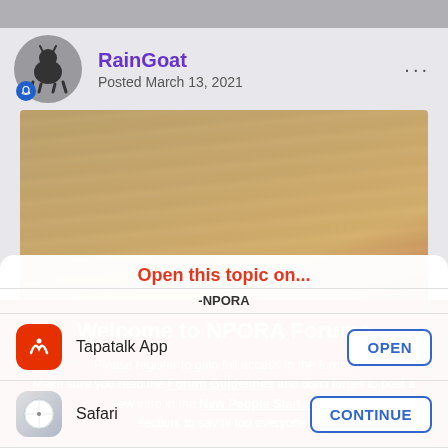RainGoat
Posted March 13, 2021
[Figure (photo): Photo of a wooden floor or surface with a red object partially visible at the bottom]
Welcome to NPORA Forums
Please register to gain full access to the forum. Make sure you read the Forum Guidelines and don't forget to post a new intro in the New People Start Here! section, to say hi too everyone. -NPORA
Open this topic on...
Tapatalk App
Safari